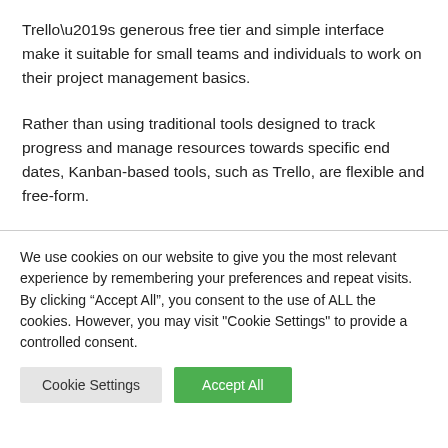Trello’s generous free tier and simple interface make it suitable for small teams and individuals to work on their project management basics.
Rather than using traditional tools designed to track progress and manage resources towards specific end dates, Kanban-based tools, such as Trello, are flexible and free-form.
We use cookies on our website to give you the most relevant experience by remembering your preferences and repeat visits. By clicking “Accept All”, you consent to the use of ALL the cookies. However, you may visit "Cookie Settings" to provide a controlled consent.